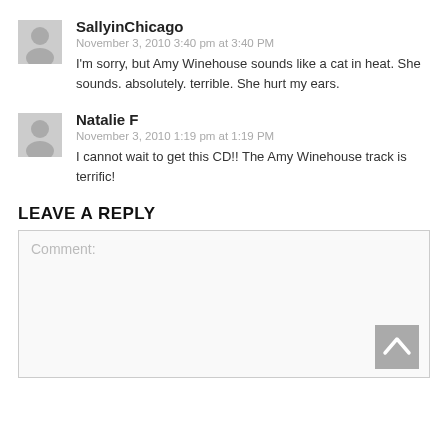SallyinChicago
November 3, 2010 3:40 pm at 3:40 PM
I'm sorry, but Amy Winehouse sounds like a cat in heat. She sounds. absolutely. terrible. She hurt my ears.
Natalie F
November 3, 2010 1:19 pm at 1:19 PM
I cannot wait to get this CD!! The Amy Winehouse track is terrific!
LEAVE A REPLY
Comment: